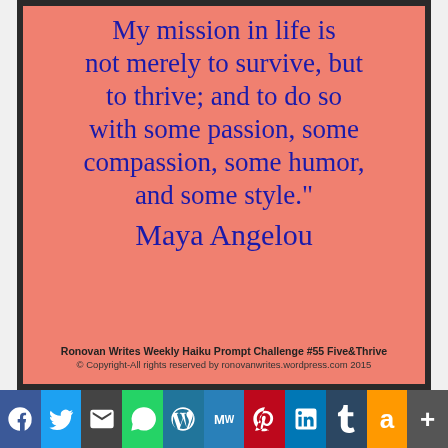[Figure (illustration): Salmon/coral colored quote card with dark border. Features a handwritten-style blue script font quote: 'My mission in life is not merely to survive, but to thrive; and to do so with some passion, some compassion, some humor, and some style.' attributed to Maya Angelou. Footer reads: Ronovan Writes Weekly Haiku Prompt Challenge #55 Five&Thrive. © Copyright-All rights reserved by ronovanwrites.wordpress.com 2015]
Advertisements
Professionally designed sites
[Figure (illustration): Row of social media share buttons: Facebook (blue), Twitter (light blue), Email (dark), WhatsApp (green), WordPress (blue), MW (blue), Pinterest (red), LinkedIn (blue), Tumblr (dark navy), Amazon (orange), More/Plus (grey)]